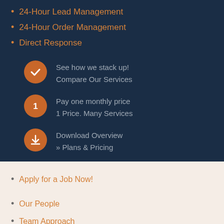24-Hour Lead Management
24-Hour Order Management
Direct Response
[Figure (infographic): Orange circle with checkmark icon next to text 'See how we stack up! Compare Our Services']
[Figure (infographic): Orange circle with number 1 icon next to text 'Pay one monthly price 1 Price. Many Services']
[Figure (infographic): Orange circle with download icon next to text 'Download Overview » Plans & Pricing']
Apply for a Job Now!
Our People
Team Approach